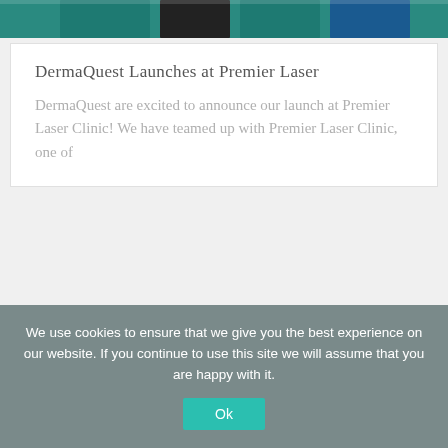[Figure (photo): Photo strip showing people in teal/dark clothing at top of page]
DermaQuest Launches at Premier Laser
DermaQuest are excited to announce our launch at Premier Laser Clinic! We have teamed up with Premier Laser Clinic, one of
[Figure (infographic): Banner with orange NEW badge and large text reading ULTIMATE SKIN in orange]
We use cookies to ensure that we give you the best experience on our website. If you continue to use this site we will assume that you are happy with it.